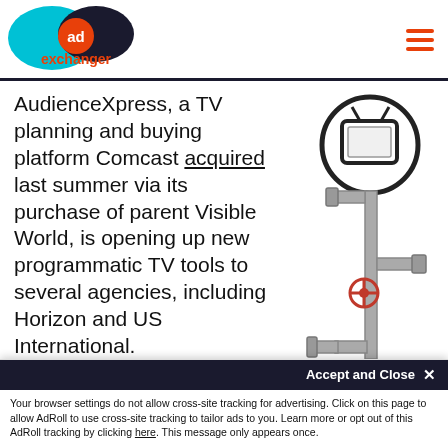AdExchanger
AudienceXpress, a TV planning and buying platform Comcast acquired last summer via its purchase of parent Visible World, is opening up new programmatic TV tools to several agencies, including Horizon and US International.
[Figure (illustration): Illustration of a TV set on a pipe system with a valve, labeled 'Direct Pipe']
These tools include a self-serve ad format called API...
Your browser settings do not allow cross-site tracking for advertising. Click on this page to allow AdRoll to use cross-site tracking to tailor ads to you. Learn more or opt out of this AdRoll tracking by clicking here. This message only appears once.